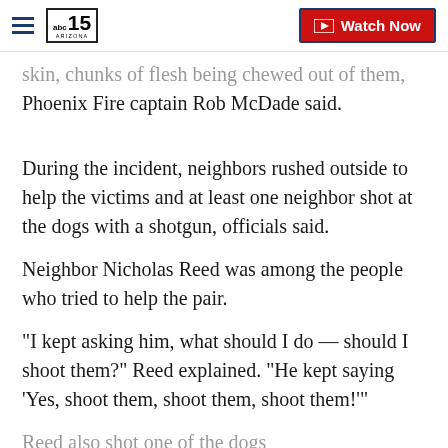abc15 ARIZONA — Watch Now
skin, chunks of flesh being chewed out of them, Phoenix Fire captain Rob McDade said.
During the incident, neighbors rushed outside to help the victims and at least one neighbor shot at the dogs with a shotgun, officials said.
Neighbor Nicholas Reed was among the people who tried to help the pair.
"I kept asking him, what should I do — should I shoot them?" Reed explained. "He kept saying 'Yes, shoot them, shoot them, shoot them!'"
Reed also shot one of the dogs...